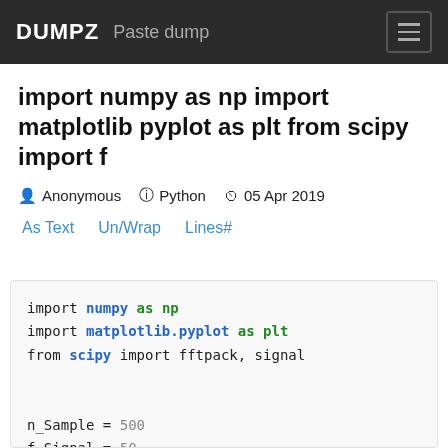DUMPZ Paste dump
import numpy as np import matplotlib pyplot as plt from scipy import f
Anonymous  Python  05 Apr 2019
As Text   Un/Wrap   Lines#
import numpy as np
import matplotlib.pyplot as plt
from scipy import fftpack, signal


n_Sample = 500
f_Signal = 50
f_sampling = f_Signal*1000